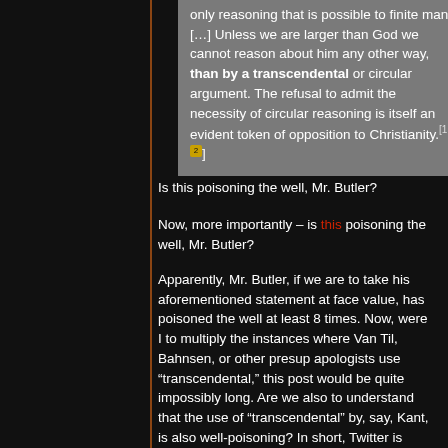only reasoning that is possible to finite man. […] Unless we are larger than God we cannot reason about him any other way, than by a transcendental or circular argument. The refusal to admit the necessity of circular reasoning is itself an evident token of opposition to Christianity.[1][2]
Is this poisoning the well, Mr. Butler?
Now, more importantly – is this poisoning the well, Mr. Butler?
Apparently, Mr. Butler, if we are to take his aforementioned statement at face value, has poisoned the well at least 8 times. Now, were I to multiply the instances where Van Til, Bahnsen, or other presup apologists use "transcendental," this post would be quite impossibly long. Are we also to understand that the use of "transcendental" by, say, Kant, is also well-poisoning? In short, Twitter is really suited to people able to express themselves within a 140-character limit without delving into broadbrush and unfortunately inaccurate